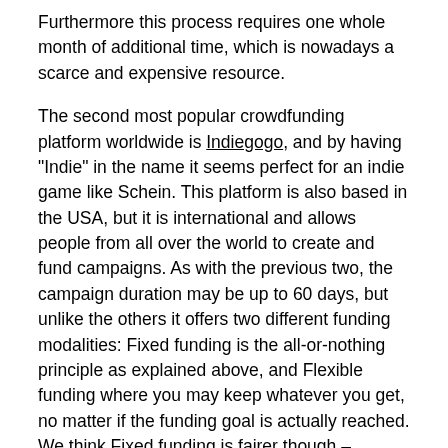Furthermore this process requires one whole month of additional time, which is nowadays a scarce and expensive resource.
The second most popular crowdfunding platform worldwide is Indiegogo, and by having "Indie" in the name it seems perfect for an indie game like Schein. This platform is also based in the USA, but it is international and allows people from all over the world to create and fund campaigns. As with the previous two, the campaign duration may be up to 60 days, but unlike the others it offers two different funding modalities: Fixed funding is the all-or-nothing principle as explained above, and Flexible funding where you may keep whatever you get, no matter if the funding goal is actually reached. We think Fixed funding is fairer though – wouldn't it suck to contribute to a project which doesn't get realized in the end? You would contribute and get nothing in return. With this model Indiegogo charges a 4% fee of all raised funds and once